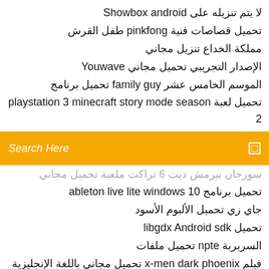لا يتم تنزيله على Showbox android
تحميل قصاصات فنية pinkfong طفل القرش
مملكة الخداع تنزيل مجاني
الإصدار التجريبي تحميل مجاني Youwave
الموسم الخامس عشر family guy تحميل برنامج
تحميل لعبة playstation 3 minecraft story mode season 2
[Figure (screenshot): Orange search bar with text 'Search Here' and a small square icon on the right]
سورجان بيرمش ديت 6 تراكت ملعبة تحميل مجاني
تحميل برنامج ableton live lite windows 10
جاي زي تحميل الألبوم الأسود
تحميل libgdx Android sdk
السربربة npte تحميل ملفات
فيلم x-men dark phoenix تحميل مجاني باللغة الإنجليزية الكامل
تحميل التطبيق معرض ولاية كاليفورنيا
تنزيل برنامج kodi app installer apk
تنزيل samsung android usb driver لنظام التشغيل windows مجانًا 10
برنامج التعريب كريكور تنزيل مجاني